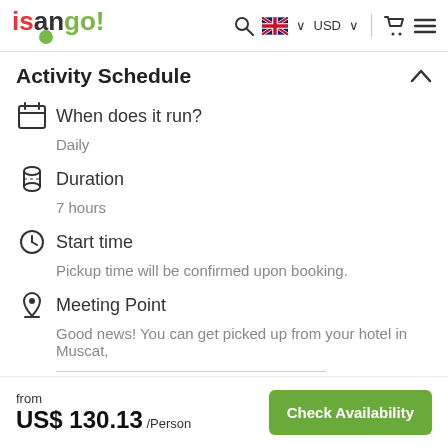isango! [search] [UK flag] USD [cart] [menu]
Activity Schedule
When does it run?
Daily
Duration
7 hours
Start time
Pickup time will be confirmed upon booking.
Meeting Point
Good news! You can get picked up from your hotel in Muscat,
from US$ 130.13 /Person   Check Availability